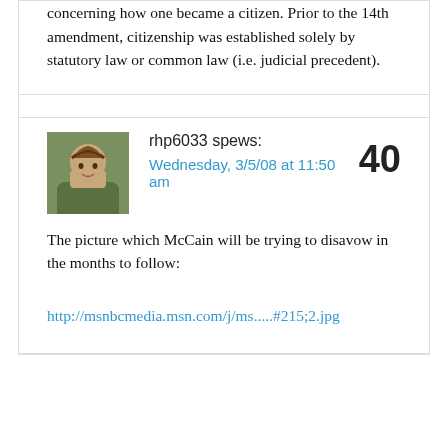concerning how one became a citizen. Prior to the 14th amendment, citizenship was established solely by statutory law or common law (i.e. judicial precedent).
rhp6033 spews:
Wednesday, 3/5/08 at 11:50 am
40
The picture which McCain will be trying to disavow in the months to follow:
http://msnbcmedia.msn.com/j/ms.....#215;2.jpg